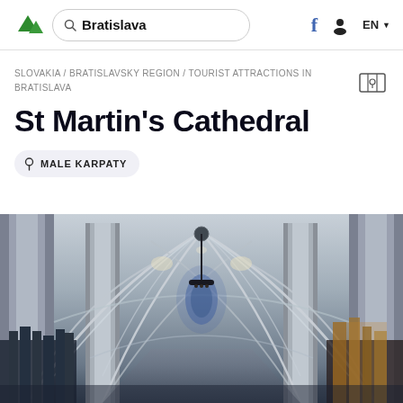Bratislava
SLOVAKIA / BRATISLAVSKY REGION / TOURIST ATTRACTIONS IN BRATISLAVA
St Martin's Cathedral
MALE KARPATY
[Figure (photo): Interior of St Martin's Cathedral in Bratislava showing Gothic ribbed vaulted ceiling, tall stone pillars, and nave looking toward the altar with stained glass window in background]